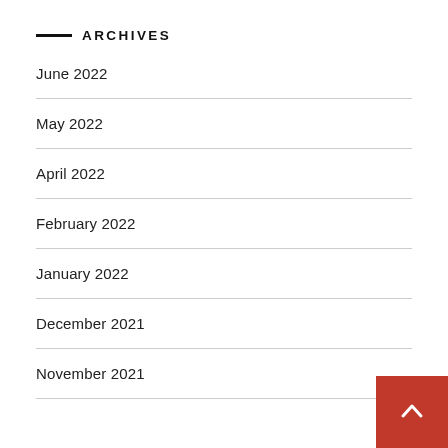ARCHIVES
June 2022
May 2022
April 2022
February 2022
January 2022
December 2021
November 2021